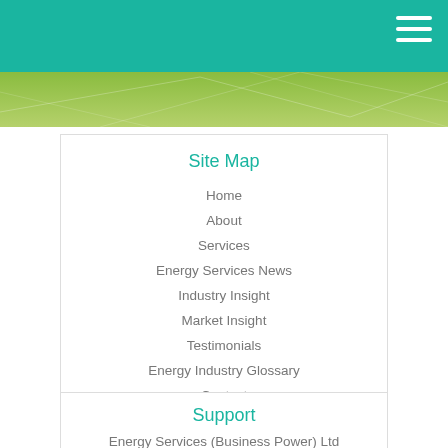Site Map
Home
About
Services
Energy Services News
Industry Insight
Market Insight
Testimonials
Energy Industry Glossary
Contact
Privacy Policy
Complaints Procedure
Website designed and maintained by We Are Coda Ltd
Support
Energy Services (Business Power) Ltd